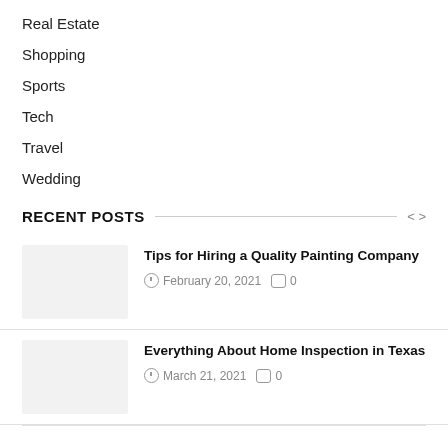Real Estate
Shopping
Sports
Tech
Travel
Wedding
RECENT POSTS
Tips for Hiring a Quality Painting Company — February 20, 2021 — 0 comments
Everything About Home Inspection in Texas — March 21, 2021 — 0 comments